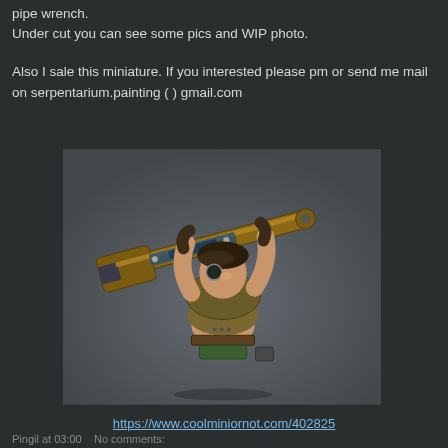pipe wrench.
Under cut you can see some pics and WIP photo.
Also I sale this miniature. If you interested please pm or send me mail on serpentarium.painting ( ) gmail.com
[Figure (photo): Painted miniature figurine of a steampunk female character holding a large pipe wrench raised above her head, wearing goggles and revealing steampunk-style outfit with star tattoos on her midriff, displayed against a grey background]
https://www.coolminiornot.com/402825
Pingil at 03:00    No comments: